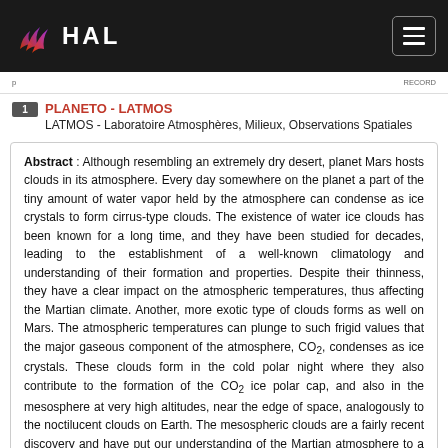HAL
PLANETO - LATMOS
LATMOS - Laboratoire Atmosphères, Milieux, Observations Spatiales
Abstract : Although resembling an extremely dry desert, planet Mars hosts clouds in its atmosphere. Every day somewhere on the planet a part of the tiny amount of water vapor held by the atmosphere can condense as ice crystals to form cirrus-type clouds. The existence of water ice clouds has been known for a long time, and they have been studied for decades, leading to the establishment of a well-known climatology and understanding of their formation and properties. Despite their thinness, they have a clear impact on the atmospheric temperatures, thus affecting the Martian climate. Another, more exotic type of clouds forms as well on Mars. The atmospheric temperatures can plunge to such frigid values that the major gaseous component of the atmosphere, CO2, condenses as ice crystals. These clouds form in the cold polar night where they also contribute to the formation of the CO2 ice polar cap, and also in the mesosphere at very high altitudes, near the edge of space, analogously to the noctilucent clouds on Earth. The mesospheric clouds are a fairly recent discovery and have put our understanding of the Martian atmosphere to a test. On Mars, cloud crystals form on ice nuclei, mostly provided by the omnipresent dust. Thus, the clouds link the three major climatic cycles: those of the two major volatiles, H2O and CO2; and that of dust, which is a